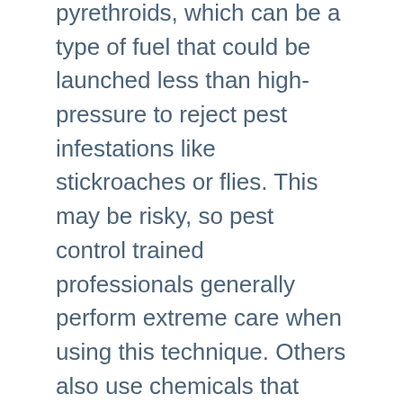pyrethroids, which can be a type of fuel that could be launched less than high-pressure to reject pest infestations like stickroaches or flies. This may be risky, so pest control trained professionals generally perform extreme care when using this technique. Others also use chemicals that happen to be used yourself or using an atmosphere blaster. However, these harsh chemicals are often viewed as less unhealthy than pyrethroids.
Other strategies incorporate bait remedy. Bait treatment method entails setting lure or creatures surrounding the real estate that are known to prey on particular pest infestations. There are lots of types of lure, but probably the most frequent is dishwater, as mentioned before. There are many different sorts of insect pests that may eat such a bait. Another method consists of applying